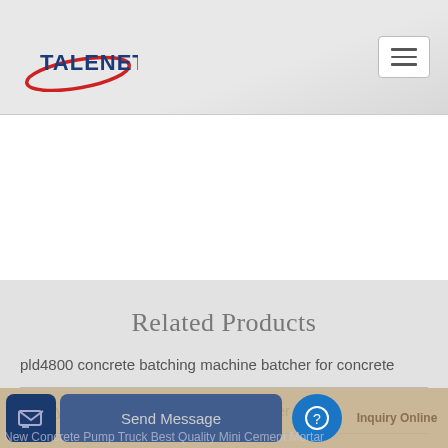[Figure (logo): TALENET logo with red oval swoosh and blue bold text]
[Figure (other): Hamburger menu icon (three horizontal lines) in a white rounded rectangle button]
Related Products
pld4800 concrete batching machine batcher for concrete
supply good friction drum concrete mixer 1
Send Message
Inquiry Online
New Concrete Pump Truck Best Quality Mini Cement Mortar